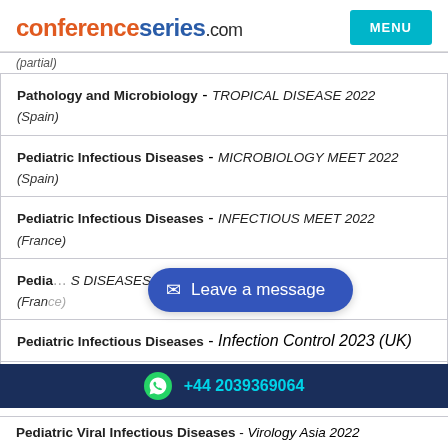conferenceseries.com | MENU
(partial text cut off at top)
Pathology and Microbiology - TROPICAL DISEASE 2022 (Spain)
Pediatric Infectious Diseases - MICROBIOLOGY MEET 2022 (Spain)
Pediatric Infectious Diseases - INFECTIOUS MEET 2022 (France)
Pediatric Infectious Diseases - S DISEASES-2023 (France)
Pediatric Infectious Diseases - Infection Control 2023 (UK)
Pediatric Infectious Diseases/ Childhood Infectious
+44 2039369064
Pediatric Viral Infectious Diseases - Virology Asia 2022